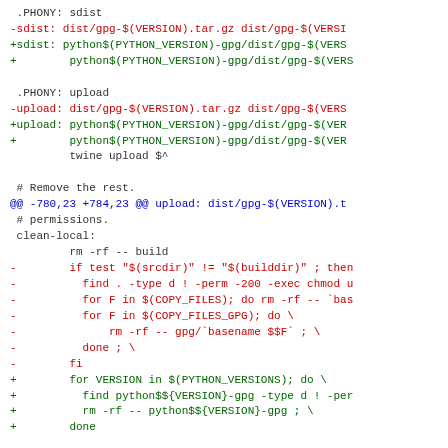.PHONY: sdist
-sdist: dist/gpg-$(VERSION).tar.gz dist/gpg-$(VERSI
+sdist: python$(PYTHON_VERSION)-gpg/dist/gpg-$(VERS
+        python$(PYTHON_VERSION)-gpg/dist/gpg-$(VERS

 .PHONY: upload
-upload: dist/gpg-$(VERSION).tar.gz dist/gpg-$(VERS
+upload: python$(PYTHON_VERSION)-gpg/dist/gpg-$(VER
+        python$(PYTHON_VERSION)-gpg/dist/gpg-$(VER
         twine upload $^

 # Remove the rest.
@@ -780,23 +784,23 @@ upload: dist/gpg-$(VERSION).t
 # permissions.
 clean-local:
         rm -rf -- build
-        if test "$(srcdir)" != "$(builddir)" ; then
-          find . -type d ! -perm -200 -exec chmod u
-          for F in $(COPY_FILES); do rm -rf -- `bas
-          for F in $(COPY_FILES_GPG); do \
-              rm -rf -- gpg/`basename $$F` ; \
-          done ; \
-        fi
+        for VERSION in $(PYTHON_VERSIONS); do \
+          find python$${VERSION}-gpg -type d ! -per
+          rm -rf -- python$${VERSION}-gpg ; \
+        done

 install-exec-local:
         f install fil...t